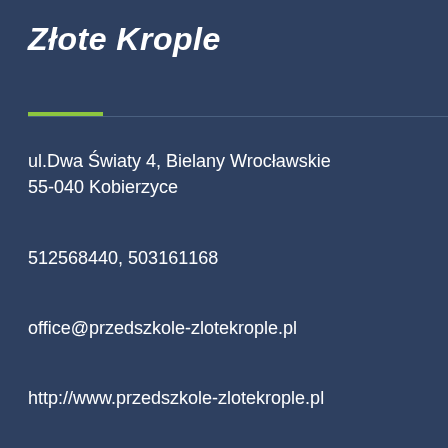Złote Krople
ul.Dwa Światy 4, Bielany Wrocławskie
55-040 Kobierzyce
512568440, 503161168
office@przedszkole-zlotekrople.pl
http://www.przedszkole-zlotekrople.pl
[Figure (logo): Facebook icon - black square with white letter f]